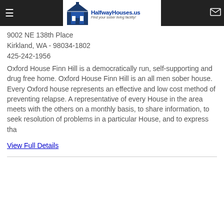HalfwayHouses.us - Find your sober living facility!
9002 NE 138th Place
Kirkland, WA - 98034-1802
425-242-1956
Oxford House Finn Hill is a democratically run, self-supporting and drug free home. Oxford House Finn Hill is an all men sober house. Every Oxford house represents an effective and low cost method of preventing relapse. A representative of every House in the area meets with the others on a monthly basis, to share information, to seek resolution of problems in a particular House, and to express tha
View Full Details